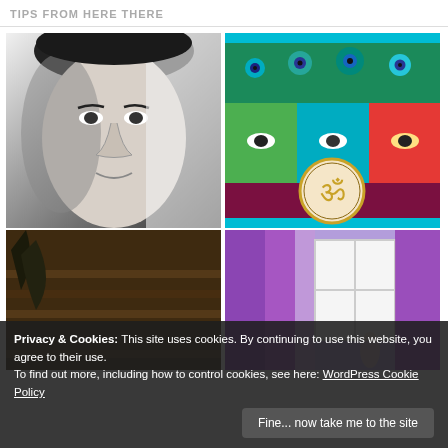TIPS FROM HERE THERE
[Figure (photo): Black and white close-up portrait of a woman's face]
[Figure (photo): Colorful Indian art collage with peacock feathers, deity faces, and Om symbol on dark maroon background]
[Figure (photo): Dark photo of wooden furniture or flooring with plant element]
[Figure (photo): Purple curtains and window with a figure]
Privacy & Cookies: This site uses cookies. By continuing to use this website, you agree to their use.
To find out more, including how to control cookies, see here: WordPress Cookie Policy
Fine... now take me to the site